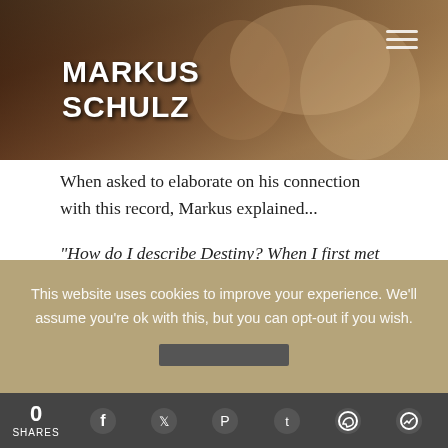[Figure (photo): Dark photo banner showing a couple in an intimate scene with Markus Schulz logo text overlaid in white bold uppercase letters on the left side, and a hamburger menu icon in the top right corner.]
When asked to elaborate on his connection with this record, Markus explained...
“How do I describe Destiny? When I first met Delacey in the studio I told her I had this idea in my head that was based on my personal experience. About the very moment you first meet someone, and how that moment shapes your entire life going forward.
She resonated with the idea immediately. So the most
This website uses cookies to improve your experience. We’ll assume you’re ok with this, but you can opt-out if you wish.
0 SHARES